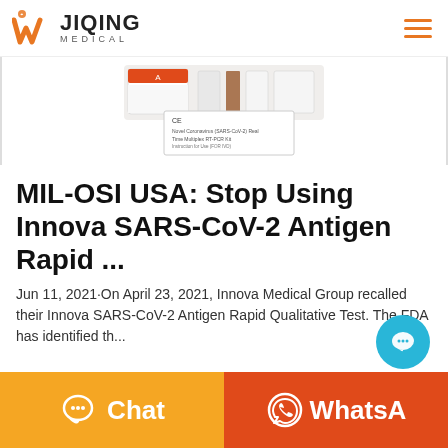[Figure (logo): Wjiqing Medical logo with orange W icon and text JIQING MEDICAL]
[Figure (photo): Product photo of Innova SARS-CoV-2 Antigen Rapid test kit components and CE marked instruction leaflet]
MIL-OSI USA: Stop Using Innova SARS-CoV-2 Antigen Rapid ...
Jun 11, 2021·On April 23, 2021, Innova Medical Group recalled their Innova SARS-CoV-2 Antigen Rapid Qualitative Test. The FDA has identified th...